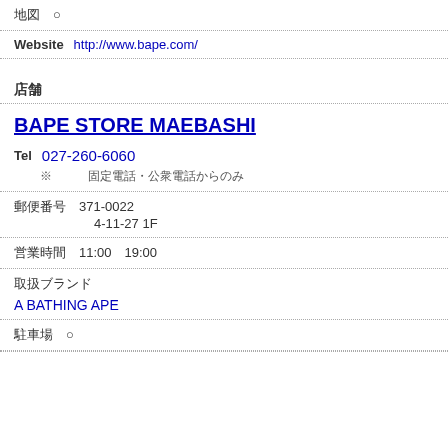地図 ○
Website  http://www.bape.com/
店舗
BAPE STORE MAEBASHI
Tel  027-260-6060
※　　　固定電話・公衆電話からのみ
郵便番号  371-0022
4-11-27 1F
営業時間  11:00 19:00
取扱ブランド
A BATHING APE
駐車場 ○